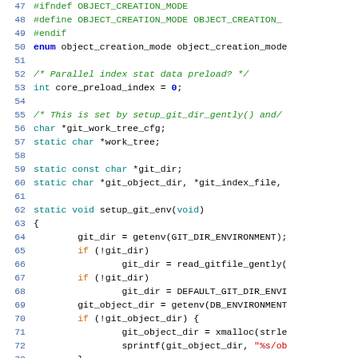[Figure (screenshot): Source code listing (C language) showing lines 47-76 of a Git source file, featuring preprocessor directives, variable declarations, and the setup_git_env() function body with conditional assignments.]